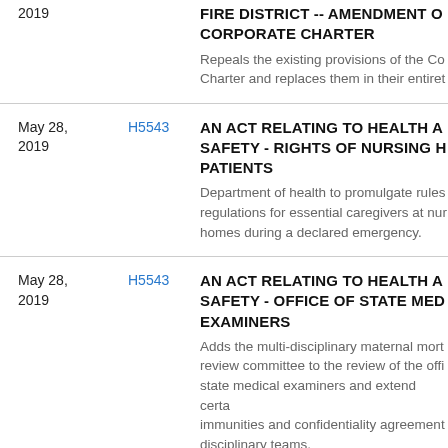| Date | Bill | Title/Description |
| --- | --- | --- |
| 2019 |  | FIRE DISTRICT -- AMENDMENT OF CORPORATE CHARTER
Repeals the existing provisions of the Corporate Charter and replaces them in their entirety. |
| May 28, 2019 | H5543 | AN ACT RELATING TO HEALTH AND SAFETY - RIGHTS OF NURSING HOME PATIENTS
Department of health to promulgate rules and regulations for essential caregivers at nursing homes during a declared emergency. |
| May 28, 2019 | H5543 | AN ACT RELATING TO HEALTH AND SAFETY - OFFICE OF STATE MEDICAL EXAMINERS
Adds the multi-disciplinary maternal mortality review committee to the review of the office of state medical examiners and extend certain immunities and confidentiality agreements to disciplinary teams. |